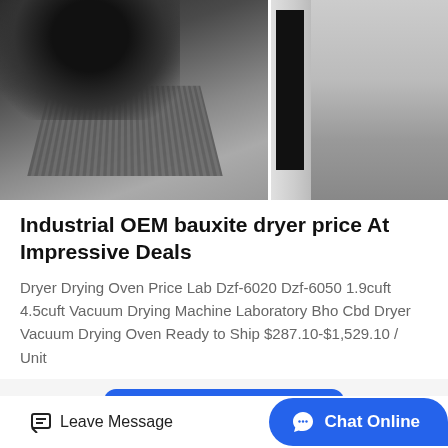[Figure (photo): Two industrial images side by side: left shows a black industrial dryer/oven machine with grating visible, right shows an interior of an industrial facility with white panels]
Industrial OEM bauxite dryer price At Impressive Deals
Dryer Drying Oven Price Lab Dzf-6020 Dzf-6050 1.9cuft 4.5cuft Vacuum Drying Machine Laboratory Bho Cbd Dryer Vacuum Drying Oven Ready to Ship $287.10-$1,529.10 / Unit
[Figure (other): Blue 'Get Price' button]
[Figure (photo): Bottom partial image of an industrial facility interior with red overhead crane or beam structure]
Leave Message   Chat Online